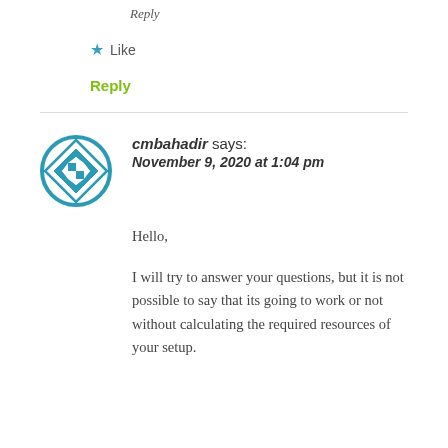Reply
★ Like
Reply
[Figure (logo): Blue decorative avatar icon with diamond and cross pattern in teal/blue colors]
cmbahadir says:
November 9, 2020 at 1:04 pm
Hello,
I will try to answer your questions, but it is not possible to say that its going to work or not without calculating the required resources of your setup.